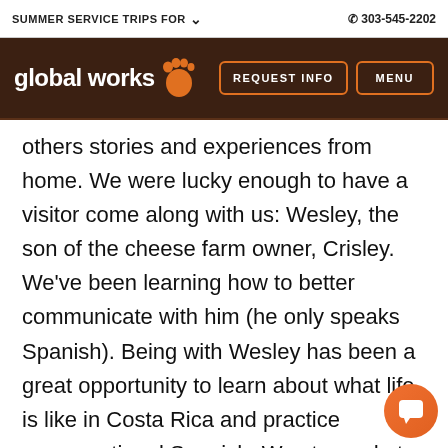SUMMER SERVICE TRIPS FOR  ☎ 303-545-2202
[Figure (logo): Global Works logo with footprint icon and nav buttons REQUEST INFO and MENU on dark brown background]
others stories and experiences from home. We were lucky enough to have a visitor come along with us: Wesley, the son of the cheese farm owner, Crisley. We've been learning how to better communicate with him (he only speaks Spanish). Being with Wesley has been a great opportunity to learn about what life is like in Costa Rica and practice conversational Spanish. We stopped at a restaurant in town and ha... really good and filling meal together. Then we